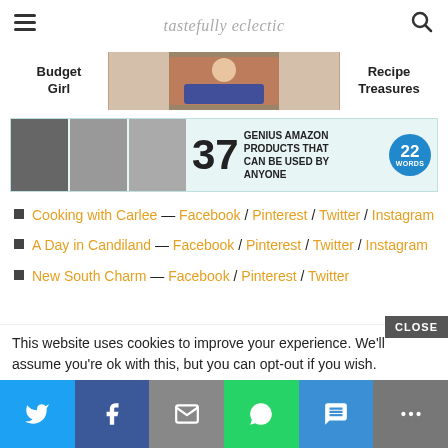tastefully eclectic
[Figure (screenshot): Navigation bar with Budget Girl label on left, center image of woman holding coffee mug, Recipe Treasures label on right]
[Figure (screenshot): Advertisement banner: 37 Genius Amazon Products That Can Be Used By Anyone, with 22 Words badge]
Cooking with Carlee — Facebook / Pinterest / Twitter / Instagram
A Day in Candiland — Facebook / Pinterest / Twitter / Instagram
New South Charm — Facebook / Pinterest / Twitter
This website uses cookies to improve your experience. We'll assume you're ok with this, but you can opt-out if you wish.
[Figure (screenshot): Social share bar with Twitter, Facebook, Email, WhatsApp, SMS, and More buttons]